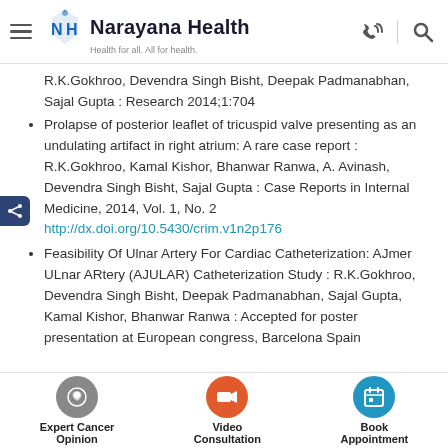Narayana Health — Health for all. All for health.
R.K.Gokhroo, Devendra Singh Bisht, Deepak Padmanabhan, Sajal Gupta : Research 2014;1:704
Prolapse of posterior leaflet of tricuspid valve presenting as an undulating artifact in right atrium: A rare case report : R.K.Gokhroo, Kamal Kishor, Bhanwar Ranwa, A. Avinash, Devendra Singh Bisht, Sajal Gupta : Case Reports in Internal Medicine, 2014, Vol. 1, No. 2 http://dx.doi.org/10.5430/crim.v1n2p176
Feasibility Of Ulnar Artery For Cardiac Catheterization: AJmer ULnar ARtery (AJULAR) Catheterization Study : R.K.Gokhroo, Devendra Singh Bisht, Deepak Padmanabhan, Sajal Gupta, Kamal Kishor, Bhanwar Ranwa : Accepted for poster presentation at European congress, Barcelona Spain
Expert Cancer Opinion | Video Consultation | Book Appointment